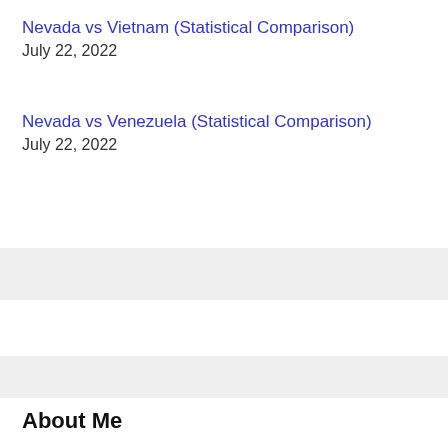Nevada vs Vietnam (Statistical Comparison)
July 22, 2022
Nevada vs Venezuela (Statistical Comparison)
July 22, 2022
About Me